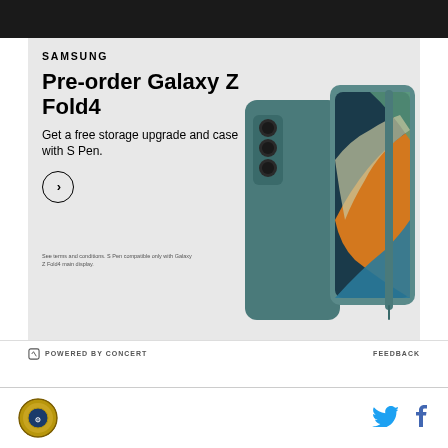[Figure (photo): Dark top strip background image]
[Figure (infographic): Samsung Galaxy Z Fold4 pre-order advertisement showing phone with S Pen case on teal/green background]
SAMSUNG
Pre-order Galaxy Z Fold4
Get a free storage upgrade and case with S Pen.
See terms and conditions. S Pen compatible only with Galaxy Z Fold4 main display.
POWERED BY CONCERT
FEEDBACK
[Figure (logo): Circular gold/brown sports team logo]
[Figure (logo): Twitter bird icon in blue]
[Figure (logo): Facebook f icon in blue]